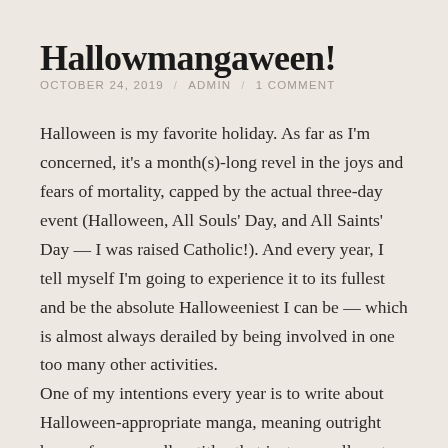Hallowmangaween!
OCTOBER 24, 2019 / ADMIN / 1 COMMENT
Halloween is my favorite holiday. As far as I'm concerned, it's a month(s)-long revel in the joys and fears of mortality, capped by the actual three-day event (Halloween, All Souls' Day, and All Saints' Day — I was raised Catholic!). And every year, I tell myself I'm going to experience it to its fullest and be the absolute Halloweeniest I can be — which is almost always derailed by being involved in one too many other activities.
One of my intentions every year is to write about Halloween-appropriate manga, meaning outright horror fare, as well as titles that just generally get into the